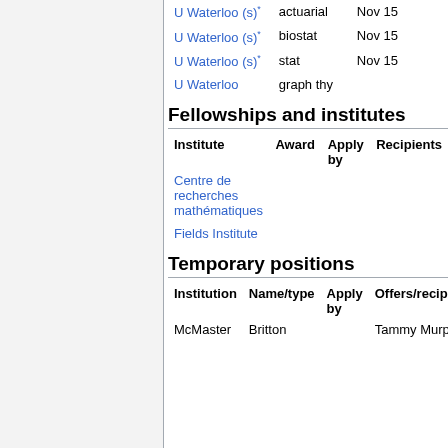| Institute | Award | Apply by | Recipients |
| --- | --- | --- | --- |
| U Waterloo (s)* | actuarial | Nov 15 |  |
| U Waterloo (s)* | biostat | Nov 15 |  |
| U Waterloo (s)* | stat | Nov 15 |  |
| U Waterloo | graph thy |  |  |
Fellowships and institutes
| Institute | Award | Apply by | Recipients |
| --- | --- | --- | --- |
| Centre de recherches mathématiques |  |  |  |
| Fields Institute |  |  |  |
Temporary positions
| Institution | Name/type | Apply by | Offers/recipients |
| --- | --- | --- | --- |
| McMaster | Britton |  | Tammy Murp... |